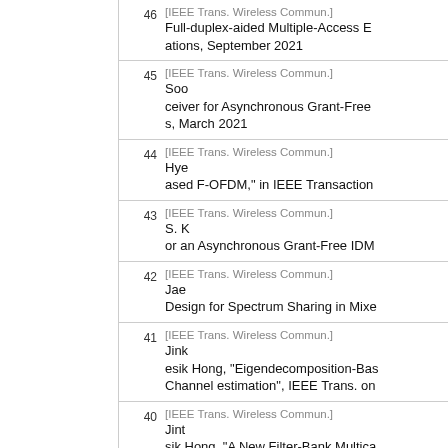46 [IEEE Trans. Wireless Commun.] Full-duplex-aided Multiple-Access E... ations, September 2021
45 [IEEE Trans. Wireless Commun.] Soo... ceiver for Asynchronous Grant-Free ... s, March 2021
44 [IEEE Trans. Wireless Commun.] Hye... ased F-OFDM," in IEEE Transaction...
43 [IEEE Trans. Wireless Commun.] S. K... or an Asynchronous Grant-Free IDM...
42 [IEEE Trans. Wireless Commun.] Jae... Design for Spectrum Sharing in Mixe...
41 [IEEE Trans. Wireless Commun.] Jink... esik Hong, "Eigendecomposition-Bas... Channel estimation", IEEE Trans. on...
40 [IEEE Trans. Wireless Commun.] Jint... sik Hong, "A New Filter-Bank Multica... eless Comm., Apr. 2018
39 [IEEE Trans. Wireless Commun.] Yos... d Daesik Hong, "A New Link Adaptat... orks", IEEE Trans. on Wireless Com...
38 [IEEE Trans. Wireless Commun.] Kwo... ed Reverse Frame Structure for Inte...